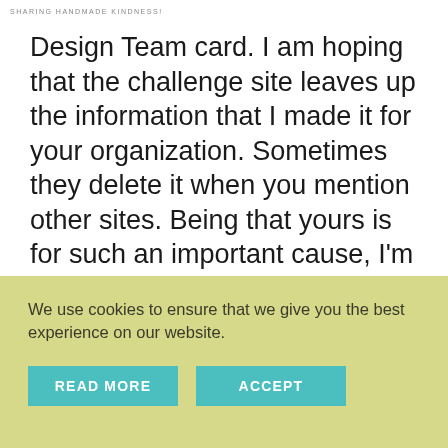SHARING HANDMADE KINDNESS!
Design Team card. I am hoping that the challenge site leaves up the information that I made it for your organization. Sometimes they delete it when you mention other sites. Being that yours is for such an important cause, I'm hoping it stays. It will go up on my blog though, and my followers are really good about making cards for a kid when I ask them to. Thanks for doing this for Grace. I hope her cards give her a little bit of happiness.
We use cookies to ensure that we give you the best experience on our website.
READ MORE
ACCEPT